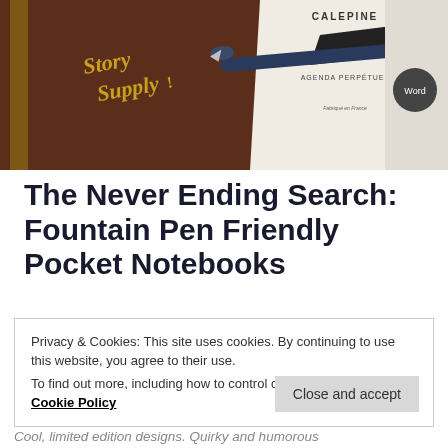[Figure (photo): Photo of notebooks and a fountain pen: a brown 'Story Supply' notebook on the left with gold lettering, a white 'Calepine Agenda Perpétuel' notebook in the center with a black pen, and a light grey 'Word' notebook on the right.]
The Never Ending Search: Fountain Pen Friendly Pocket Notebooks
Privacy & Cookies: This site uses cookies. By continuing to use this website, you agree to their use.
To find out more, including how to control cookies, see here: Cookie Policy
Cool, limited edition designs. Quirky and humorous